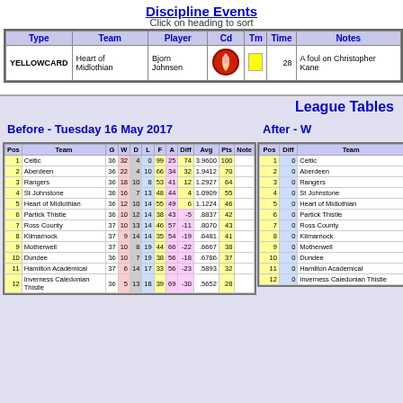Discipline Events
Click on heading to sort
| Type | Team | Player | Cd | Tm | Time | Notes |
| --- | --- | --- | --- | --- | --- | --- |
| YELLOWCARD | Heart of Midlothian | Bjorn Johnsen | [Heart logo] | [Yellow card] | 28 | A foul on Christopher Kane |
League Tables
Before - Tuesday 16 May 2017
After - W
| Pos | Team | G | W | D | L | F | A | Diff | Avg | Pts | Note |
| --- | --- | --- | --- | --- | --- | --- | --- | --- | --- | --- | --- |
| 1 | Celtic | 36 | 32 | 4 | 0 | 99 | 25 | 74 | 3.9600 | 100 |  |
| 2 | Aberdeen | 36 | 22 | 4 | 10 | 66 | 34 | 32 | 1.9412 | 70 |  |
| 3 | Rangers | 36 | 18 | 10 | 8 | 53 | 41 | 12 | 1.2927 | 64 |  |
| 4 | St Johnstone | 36 | 16 | 7 | 13 | 48 | 44 | 4 | 1.0909 | 55 |  |
| 5 | Heart of Midlothian | 36 | 12 | 10 | 14 | 55 | 49 | 6 | 1.1224 | 46 |  |
| 6 | Partick Thistle | 36 | 10 | 12 | 14 | 38 | 43 | -5 | .8837 | 42 |  |
| 7 | Ross County | 37 | 10 | 13 | 14 | 46 | 57 | -11 | .8070 | 43 |  |
| 8 | Kilmarnock | 37 | 9 | 14 | 14 | 35 | 54 | -19 | .6481 | 41 |  |
| 9 | Motherwell | 37 | 10 | 8 | 19 | 44 | 66 | -22 | .6667 | 38 |  |
| 10 | Dundee | 36 | 10 | 7 | 19 | 38 | 56 | -18 | .6786 | 37 |  |
| 11 | Hamilton Academical | 37 | 6 | 14 | 17 | 33 | 56 | -23 | .5893 | 32 |  |
| 12 | Inverness Caledonian Thistle | 36 | 5 | 13 | 18 | 39 | 69 | -30 | .5652 | 28 |  |
| Pos | Diff | Team |
| --- | --- | --- |
| 1 | 0 | Celtic |
| 2 | 0 | Aberdeen |
| 3 | 0 | Rangers |
| 4 | 0 | St Johnstone |
| 5 | 0 | Heart of Midlothian |
| 6 | 0 | Partick Thistle |
| 7 | 0 | Ross County |
| 8 | 0 | Kilmarnock |
| 9 | 0 | Motherwell |
| 10 | 0 | Dundee |
| 11 | 0 | Hamilton Academical |
| 12 | 0 | Inverness Caledonian Thistle |